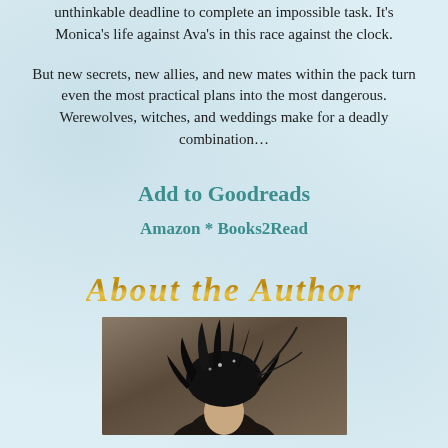unthinkable deadline to complete an impossible task. It's Monica's life against Ava's in this race against the clock.
But new secrets, new allies, and new mates within the pack turn even the most practical plans into the most dangerous. Werewolves, witches, and weddings make for a deadly combination…
Add to Goodreads
Amazon * Books2Read
About the Author
[Figure (photo): Author photo showing a person wearing an elaborate black feathered headdress, photographed against a brown/taupe background]